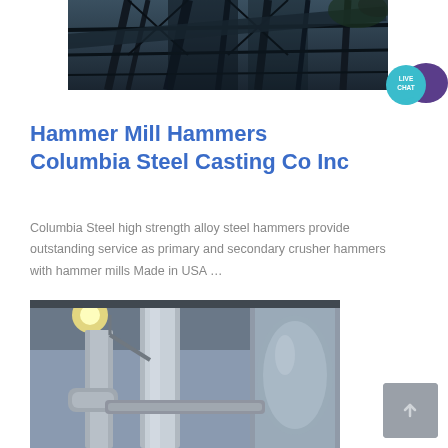[Figure (photo): Industrial steel structure / conveyor equipment photographed from below against sky, dark tones]
[Figure (other): Live Chat badge with teal circle and purple speech bubble icons]
Hammer Mill Hammers Columbia Steel Casting Co Inc
Columbia Steel high strength alloy steel hammers provide outstanding service as primary and secondary crusher hammers with hammer mills Made in USA …
[Figure (photo): Industrial piping and ductwork, silver metallic pipes in industrial facility]
[Figure (other): Scroll/navigation button, grey square with arrow icon]